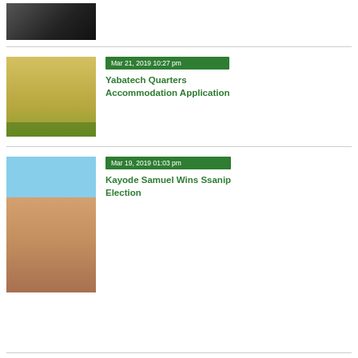[Figure (photo): Dark/blurry thumbnail image at top of page]
[Figure (photo): Photo of Yabatech Quarters building, yellow multi-storey apartment block]
Mar 21, 2019 10:27 pm
Yabatech Quarters Accommodation Application
[Figure (photo): Portrait photo of Kayode Samuel, a man in a shirt and tie]
Mar 19, 2019 01:03 pm
Kayode Samuel Wins Ssanip Election